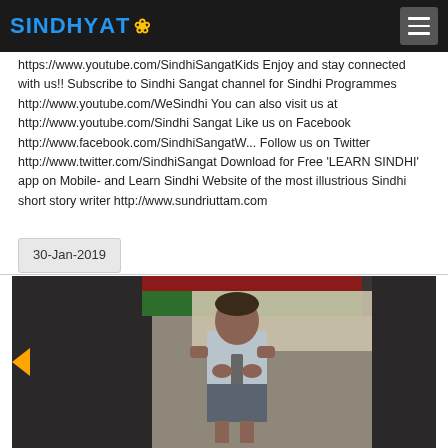SINDHYAT (logo)
https://www.youtube.com/SindhiSangatKids Enjoy and stay connected with us!! Subscribe to Sindhi Sangat channel for Sindhi Programmes http://www.youtube.com/WeSindhi You can also visit us at http://www.youtube.com/Sindhi Sangat Like us on Facebook http://www.facebook.com/SindhiSangatW... Follow us on Twitter http://www.twitter.com/SindhiSangat Download for Free 'LEARN SINDHI' app on Mobile- and Learn Sindhi Website of the most illustrious Sindhi short story writer http://www.sundriuttam.com
30-Jan-2019
[Figure (photo): A young boy in school uniform (white shirt, tie, grey shorts) standing and appearing to speak or perform, with a decorative green and red background behind him. Another person (adult) is partially visible to the left.]